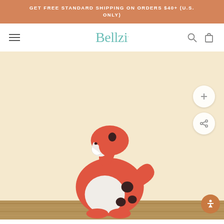GET FREE STANDARD SHIPPING ON ORDERS $40+ (U.S. ONLY)
Bellzi
[Figure (photo): A red and white dinosaur plush toy with dark spots and black eye hole details, sitting on a wooden surface against a pale cream/beige background. Two circular buttons visible: a zoom (+) button and a share button.]